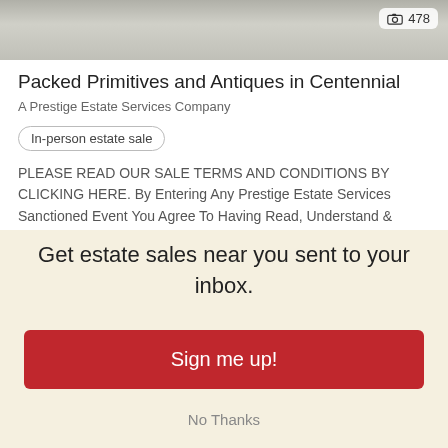[Figure (photo): Partial view of antique furniture/items photo with photo count badge showing camera icon and 478]
Packed Primitives and Antiques in Centennial
A Prestige Estate Services Company
In-person estate sale
PLEASE READ OUR SALE TERMS AND CONDITIONS BY CLICKING HERE. By Entering Any Prestige Estate Services Sanctioned Event You Agree To Having Read, Understand & Agree To Our Sale Terms & Conditions. This is also posted at
Get estate sales near you sent to your inbox.
Sign me up!
No Thanks